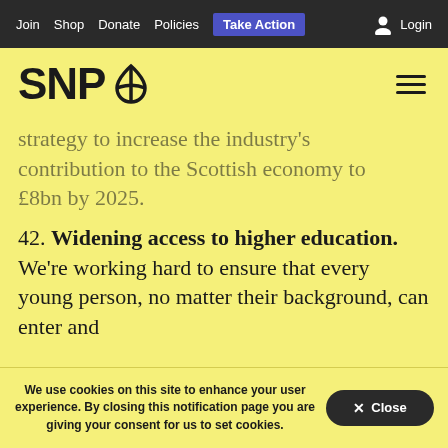Join  Shop  Donate  Policies  Take Action    Login
[Figure (logo): SNP logo with thistle symbol]
strategy to increase the industry's contribution to the Scottish economy to £8bn by 2025.
42. Widening access to higher education. We're working hard to ensure that every young person, no matter their background, can enter and
We use cookies on this site to enhance your user experience. By closing this notification page you are giving your consent for us to set cookies.